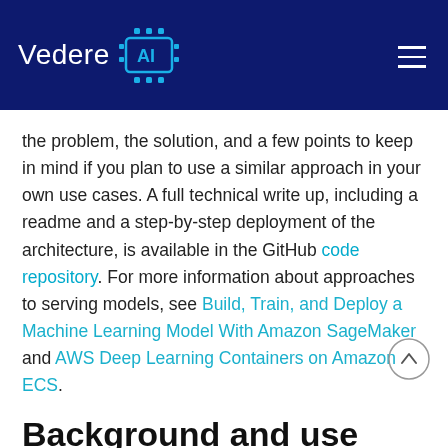Vedere AI
the problem, the solution, and a few points to keep in mind if you plan to use a similar approach in your own use cases. A full technical write up, including a readme and a step-by-step deployment of the architecture, is available in the GitHub code repository. For more information about approaches to serving models, see Build, Train, and Deploy a Machine Learning Model With Amazon SageMaker and AWS Deep Learning Containers on Amazon ECS.
Background and use